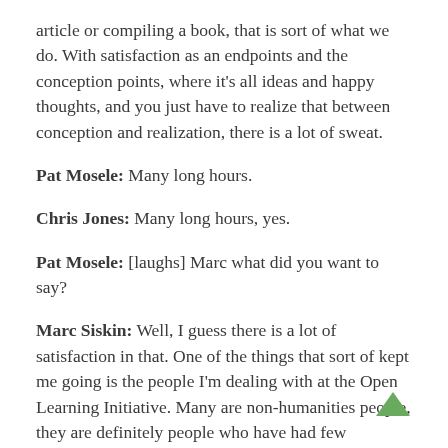article or compiling a book, that is sort of what we do. With satisfaction as an endpoints and the conception points, where it's all ideas and happy thoughts, and you just have to realize that between conception and realization, there is a lot of sweat.
Pat Mosele: Many long hours.
Chris Jones: Many long hours, yes.
Pat Mosele: [laughs] Marc what did you want to say?
Marc Siskin: Well, I guess there is a lot of satisfaction in that. One of the things that sort of kept me going is the people I'm dealing with at the Open Learning Initiative. Many are non-humanities people, they are definitely people who have had few interactions with languages.  I've had recently,